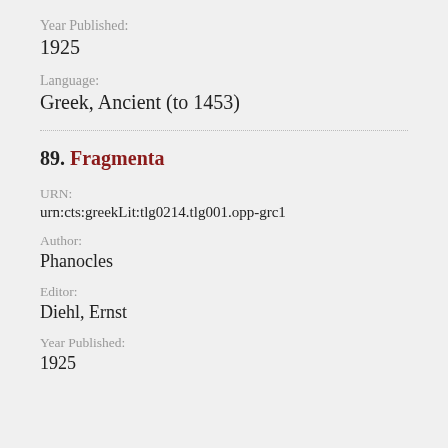Year Published:
1925
Language:
Greek, Ancient (to 1453)
89. Fragmenta
URN:
urn:cts:greekLit:tlg0214.tlg001.opp-grc1
Author:
Phanocles
Editor:
Diehl, Ernst
Year Published:
1925